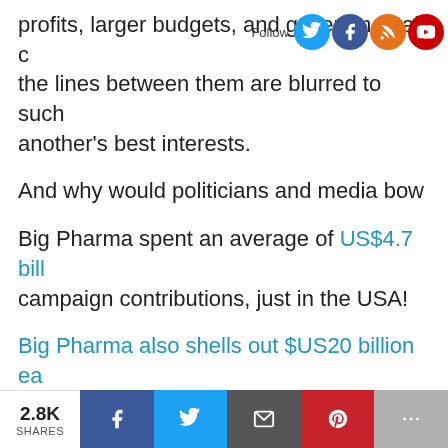profits, larger budgets, and governmental c... the lines between them are blurred to such another's best interests.
And why would politicians and media bow
Big Pharma spent an average of US$4.7 bill campaign contributions, just in the USA!
Big Pharma also shells out $US20 billion ea on drug ads, just in the USA! So, it's no surp themselves not to ruffle the party line — th Never bite the hand that feeds you.
So, they are all dancing to the same tune w
2.8K SHARES | Facebook | Twitter | Email | Pinterest | More